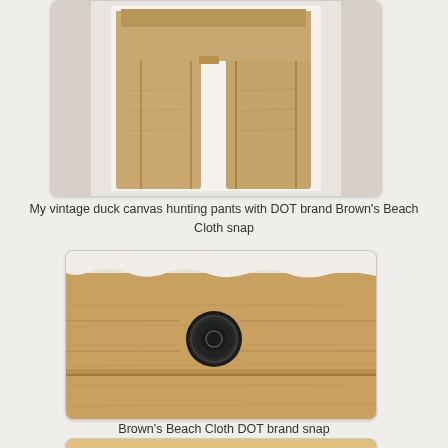[Figure (photo): Vintage duck canvas hunting pants laid flat on white background, showing full pant legs]
My vintage duck canvas hunting pants with DOT brand Brown's Beach Cloth snap
[Figure (photo): Close-up of a dark metal DOT brand snap on tan/khaki duck canvas fabric from Brown's Beach Cloth]
Brown's Beach Cloth DOT brand snap
[Figure (photo): Partial close-up of tan duck canvas pants detail, partially visible at bottom of page]